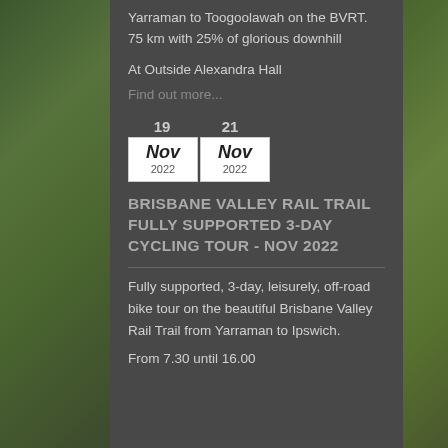Yarraman to Toogoolawah on the BVRT. 75 km with 25% of glorious downhill
At Outside Alexandra Hall
Find out more...
[Figure (other): Calendar date blocks showing 19 Nov 2022 and 21 Nov 2022]
BRISBANE VALLEY RAIL TRAIL FULLY SUPPORTED 3-DAY CYCLING TOUR - NOV 2022
Fully supported, 3-day, leisurely, off-road bike tour on the beautiful Brisbane Valley Rail Trail from Yarraman to Ipswich.
From 7.30 until 16.00